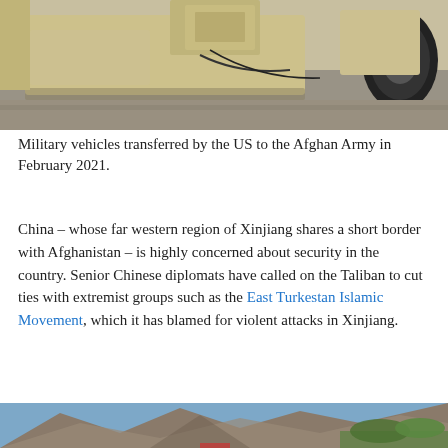[Figure (photo): Military vehicles (HMMWVs/Humvees in desert tan) transferred by the US to the Afghan Army, photographed in February 2021. Top-down view showing armored vehicle tops and equipment.]
Military vehicles transferred by the US to the Afghan Army in February 2021.
China – whose far western region of Xinjiang shares a short border with Afghanistan – is highly concerned about security in the country. Senior Chinese diplomats have called on the Taliban to cut ties with extremist groups such as the East Turkestan Islamic Movement, which it has blamed for violent attacks in Xinjiang.
[Figure (photo): Mountainous landscape photo, partially visible at the bottom of the page, showing rocky mountains with some green vegetation and a blue sky.]